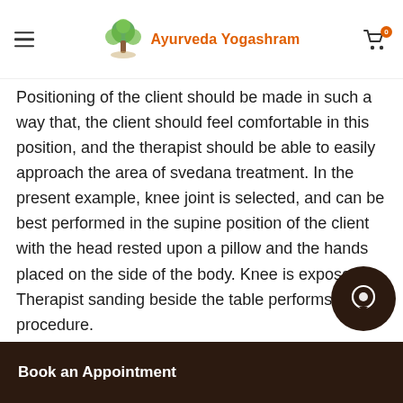Ayurveda Yogashram
Positioning of the client should be made in such a way that, the client should feel comfortable in this position, and the therapist should be able to easily approach the area of svedana treatment. In the present example, knee joint is selected, and can be best performed in the supine position of the client with the head rested upon a pillow and the hands placed on the side of the body. Knee is exposed. Therapist sanding beside the table performs the procedure.
Application of oil and massage
...ed on the knee joint. ...ssages the knee joint